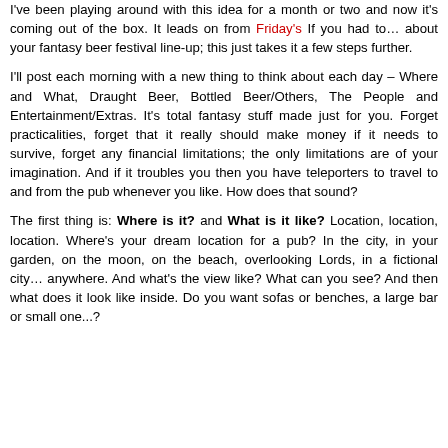I've been playing around with this idea for a month or two and now it's coming out of the box. It leads on from Friday's If you had to… about your fantasy beer festival line-up; this just takes it a few steps further.
I'll post each morning with a new thing to think about each day – Where and What, Draught Beer, Bottled Beer/Others, The People and Entertainment/Extras. It's total fantasy stuff made just for you. Forget practicalities, forget that it really should make money if it needs to survive, forget any financial limitations; the only limitations are of your imagination. And if it troubles you then you have teleporters to travel to and from the pub whenever you like. How does that sound?
The first thing is: Where is it? and What is it like? Location, location, location. Where's your dream location for a pub? In the city, in your garden, on the moon, on the beach, overlooking Lords, in a fictional city… anywhere. And what's the view like? What can you see? And then what does it look like inside. Do you want sofas or benches, a large bar or small one...?